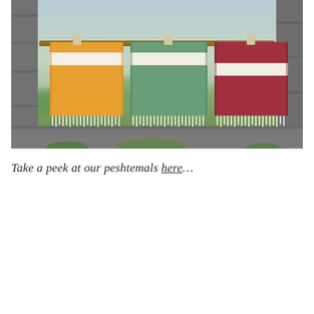[Figure (photo): Three colorful Turkish peshtemal towels (orange/yellow, green, and dark red/burgundy) with white fringe hanging on a horizontal rod, photographed through a stone window frame opening onto a blurred green Irish countryside landscape.]
Take a peek at our peshtemals here…